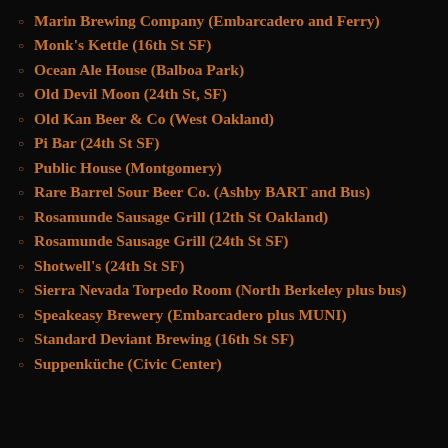Marin Brewing Company (Embarcadero and Ferry)
Monk's Kettle (16th St SF)
Ocean Ale House (Balboa Park)
Old Devil Moon (24th St, SF)
Old Kan Beer & Co (West Oakland)
Pi Bar (24th St SF)
Public House (Montgomery)
Rare Barrel Sour Beer Co. (Ashby BART and Bus)
Rosamunde Sausage Grill (12th St Oakland)
Rosamunde Sausage Grill (24th St SF)
Shotwell's (24th St SF)
Sierra Nevada Torpedo Room (North Berkeley plus bus)
Speakeasy Brewery (Embarcadero plus MUNI)
Standard Deviant Brewing (16th St SF)
Suppenküche (Civic Center)